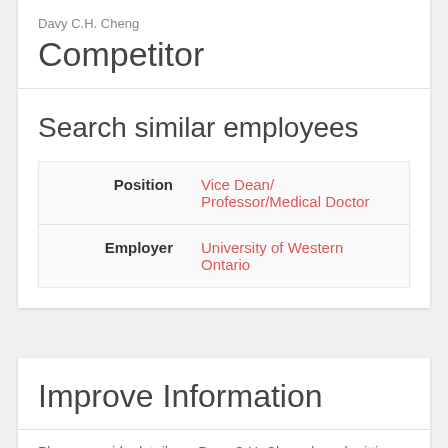Davy C.H. Cheng
Competitor
Search similar employees
| Field | Value |
| --- | --- |
| Position | Vice Dean/ Professor/Medical Doctor |
| Employer | University of Western Ontario |
Improve Information
Please provide details on Davy C.H. Cheng by submitting